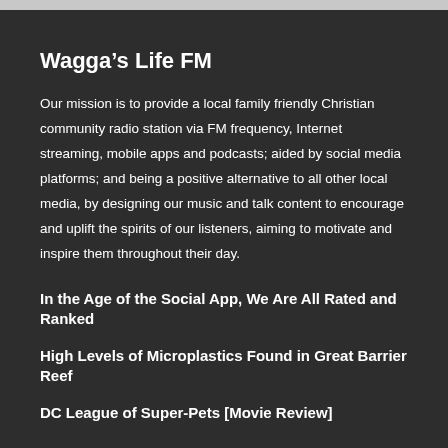Wagga’s Life FM
Our mission is to provide a local family friendly Christian community radio station via FM frequency, Internet streaming, mobile apps and podcasts; aided by social media platforms; and being a positive alternative to all other local media, by designing our music and talk content to encourage and uplift the spirits of our listeners, aiming to motivate and inspire them throughout their day.
In the Age of the Social App, We Are All Rated and Ranked
High Levels of Microplastics Found in Great Barrier Reef
DC League of Super-Pets [Movie Review]